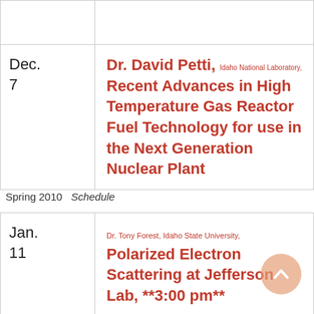| Date | Talk |
| --- | --- |
|  |  |
| Dec.
7 | Dr. David Petti, Idaho National Laboratory, Recent Advances in High Temperature Gas Reactor Fuel Technology for use in the Next Generation Nuclear Plant |
Spring 2010   Schedule
| Date | Talk |
| --- | --- |
| Jan.
11 | Dr. Tony Forest, Idaho State University, Polarized Electron Scattering at Jefferson Lab, **3:00 pm** |